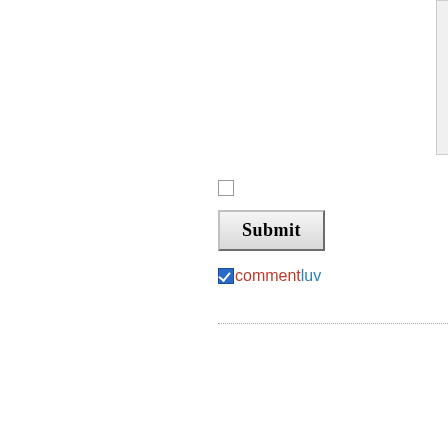[Figure (screenshot): A partially visible textarea/text input box with light gray background, cropped at the top and right edges of the page.]
[Figure (screenshot): An unchecked checkbox UI element, small square with border.]
[Figure (screenshot): A Submit button with bold serif text, raised/3D border styling.]
[Figure (screenshot): A checked blue checkbox followed by the word 'commentluv' where 'comment' is in red/orange and 'luv' is in blue, with a dotted horizontal divider line below.]